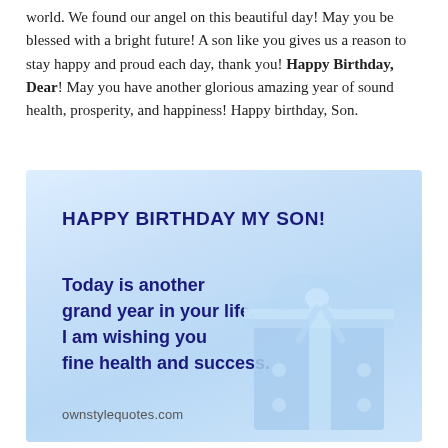world. We found our angel on this beautiful day! May you be blessed with a bright future! A son like you gives us a reason to stay happy and proud each day, thank you! Happy Birthday, Dear! May you have another glorious amazing year of sound health, prosperity, and happiness! Happy birthday, Son.
[Figure (illustration): Light blue birthday card image with dark blue bold text reading 'HAPPY BIRTHDAY MY SON!' and 'Today is another grand year in your life. I am wishing you fine health and success.' with a blue gift box with ribbon on the right side. Watermark: ownstylequotes.com]